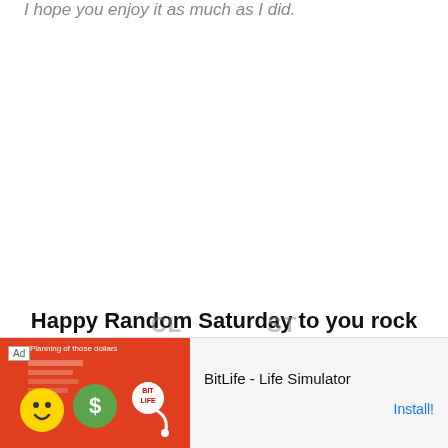I hope you enjoy it as much as I did.
Happy Random Saturday to you rock star.
WANT TO KNOW HOW TO DECORATE
[Figure (other): Advertisement banner for BitLife - Life Simulator app, showing a yellow smiley emoji graphic, BitLife sperm logo, and an Install button on a red background. Labeled 'Ad'.]